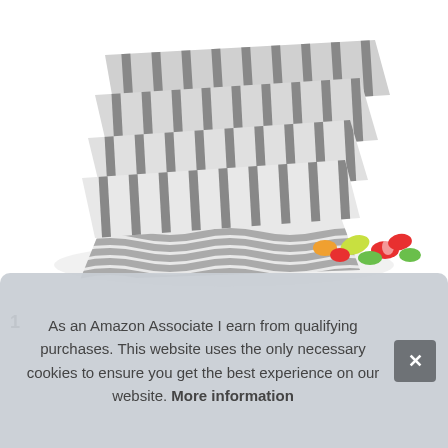[Figure (photo): Stack of grey and white striped paper bags/packets piled on top of each other, with one bag at the bottom front open and spilling colorful gummy candy (red, orange, green) onto a white surface.]
1
As an Amazon Associate I earn from qualifying purchases. This website uses the only necessary cookies to ensure you get the best experience on our website. More information